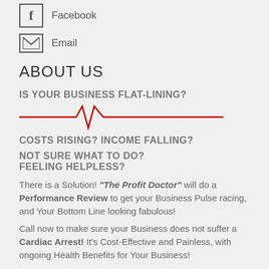Facebook
Email
ABOUT US
IS YOUR BUSINESS FLAT-LINING?
[Figure (illustration): Red ECG/heartbeat line illustration]
COSTS RISING? INCOME FALLING?
NOT SURE WHAT TO DO?
FEELING HELPLESS?
There is a Solution! "The Profit Doctor" will do a Performance Review to get your Business Pulse racing, and Your Bottom Line looking fabulous!
Call now to make sure your Business does not suffer a Cardiac Arrest! It's Cost-Effective and Painless, with ongoing Health Benefits for Your Business!
SERVICES
Planning for Success
Discuss Business Planning for Success